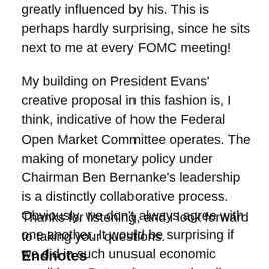greatly influenced by his. This is perhaps hardly surprising, since he sits next to me at every FOMC meeting!
My building on President Evans' creative proposal in this fashion is, I think, indicative of how the Federal Open Market Committee operates. The making of monetary policy under Chairman Ben Bernanke's leadership is a distinctly collaborative process. Obviously, we don't always agree with one another. It would be surprising if we did in such unusual economic conditions. But we learn continually from each other's points of view. In that way, I believe that we can start to make progress on the challenging economic problems we face.
Thanks for listening, and I look forward to taking your questions.
Endnotes